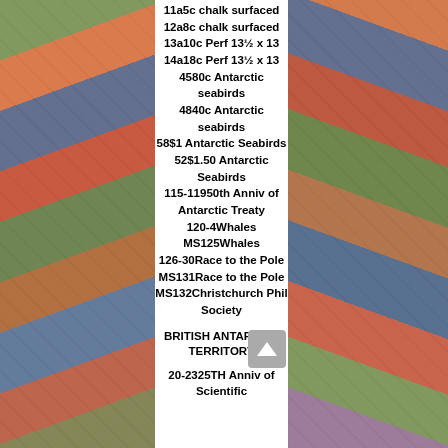11a5c chalk surfaced
12a8c chalk surfaced
13a10c Perf 13½ x 13
14a18c Perf 13½ x 13
4580c Antarctic seabirds
4840c Antarctic seabirds
58$1 Antarctic Seabirds
52$1.50 Antarctic Seabirds
115-11950th Anniv of Antarctic Treaty
120-4Whales
MS125Whales
126-30Race to the Pole
MS131Race to the Pole
MS132Christchurch Phil Society
BRITISH ANTARCTIC TERRITORY
20-2325TH Anniv of Scientific